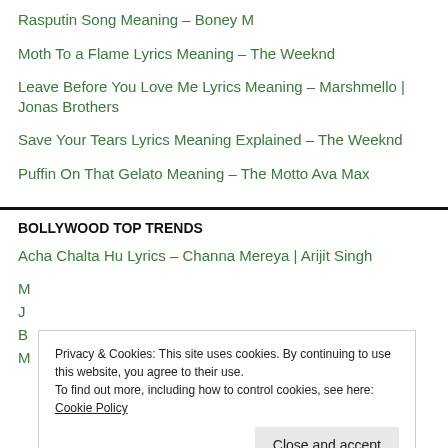Rasputin Song Meaning – Boney M
Moth To a Flame Lyrics Meaning – The Weeknd
Leave Before You Love Me Lyrics Meaning – Marshmello | Jonas Brothers
Save Your Tears Lyrics Meaning Explained – The Weeknd
Puffin On That Gelato Meaning – The Motto Ava Max
BOLLYWOOD TOP TRENDS
Acha Chalta Hu Lyrics – Channa Mereya | Arijit Singh
Privacy & Cookies: This site uses cookies. By continuing to use this website, you agree to their use.
To find out more, including how to control cookies, see here: Cookie Policy
Close and accept